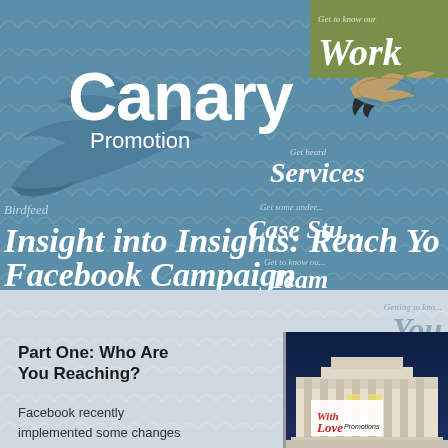[Figure (logo): Canary Promotion logo with blue bird silhouette and white text on blue scalloped background]
Insight into Insights: Reach Your Facebook Campaign
Birdfeed
Get to know our Work
Get heard Services
Get some under... Case Studies
Get to know our Team
Getting to know You
Part One: Who Are You Reaching?
Facebook recently implemented some changes
[Figure (photo): Nighttime photo of a classical building with columns, with a 'With Love' overlay graphic]